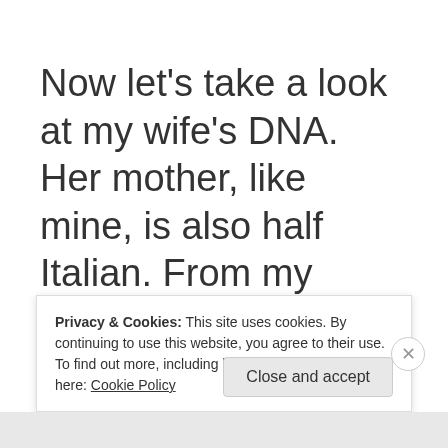Now let's take a look at my wife's DNA. Her mother, like mine, is also half Italian. From my wife's DNA test, we learned that in addition to being Italian, my wife is a decent amount Greek
Privacy & Cookies: This site uses cookies. By continuing to use this website, you agree to their use.
To find out more, including how to control cookies, see here: Cookie Policy